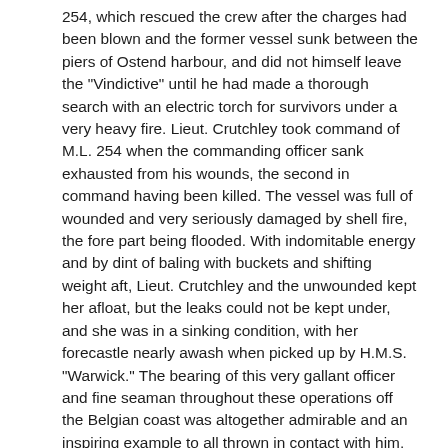254, which rescued the crew after the charges had been blown and the former vessel sunk between the piers of Ostend harbour, and did not himself leave the "Vindictive" until he had made a thorough search with an electric torch for survivors under a very heavy fire. Lieut. Crutchley took command of M.L. 254 when the commanding officer sank exhausted from his wounds, the second in command having been killed. The vessel was full of wounded and very seriously damaged by shell fire, the fore part being flooded. With indomitable energy and by dint of baling with buckets and shifting weight aft, Lieut. Crutchley and the unwounded kept her afloat, but the leaks could not be kept under, and she was in a sinking condition, with her forecastle nearly awash when picked up by H.M.S. "Warwick." The bearing of this very gallant officer and fine seaman throughout these operations off the Belgian coast was altogether admirable and an inspiring example to all thrown in contact with him.